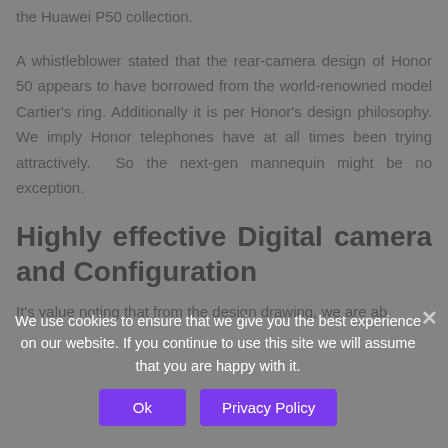the Huawei P50 collection.
A whistleblower stated that the rear-camera design of Honor 50 appears to have borrowed from the world-renowned model Cartier's ring. Additionally it is per Honor's design philosophy. We imply Honor telephones have at all times been trying attractively. So the next-gen mannequin might be no exception.
Highly effective Digital camera and Configuration
It's value noting that from the design drawing, we are ab
We use cookies to ensure that we give you the best experience on our website. If you continue to use this site we will assume that you are happy with it.